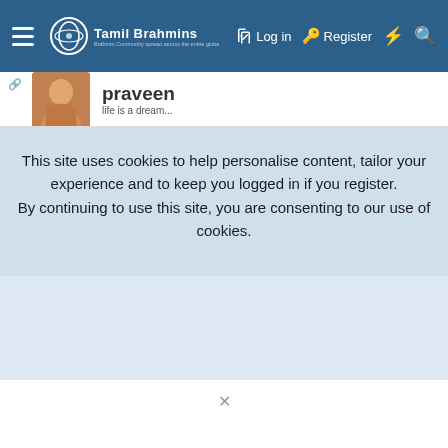Tamil Brahmins — Log in | Register
praveen
life is a dream...
This site uses cookies to help personalise content, tailor your experience and to keep you logged in if you register.
By continuing to use this site, you are consenting to our use of cookies.